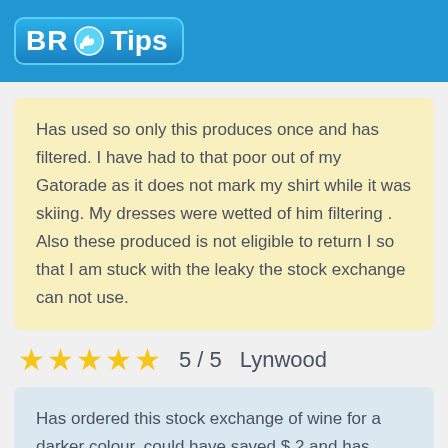BR Tips
Has used so only this produces once and has filtered. I have had to that poor out of my Gatorade as it does not mark my shirt while it was skiing. My dresses were wetted of him filtering . Also these produced is not eligible to return I so that I am stuck with the leaky the stock exchange can not use.
5 / 5  Lynwood
Has ordered this stock exchange of wine for a darker colour. could have saved $ 2 and has